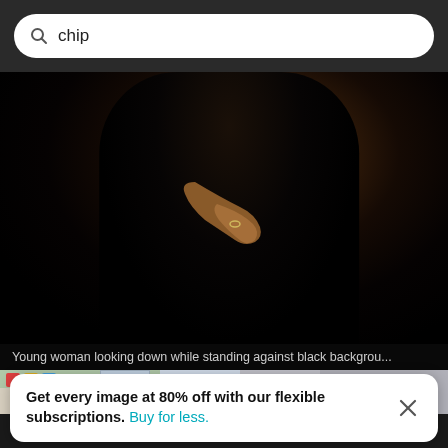chip
[Figure (photo): Search results page screenshot showing a person in a black dress against a black background, with a search bar at top showing 'chip' query]
Young woman looking down while standing against black backgrou...
[Figure (photo): Thumbnail strip of additional image results]
Get every image at 80% off with our flexible subscriptions. Buy for less.